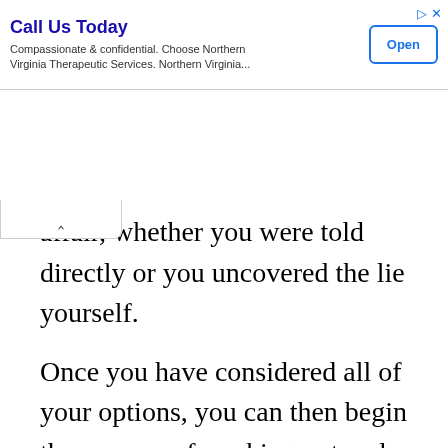[Figure (other): Advertisement banner: 'Call Us Today' - Compassionate & confidential. Choose Northern Virginia Therapeutic Services. Northern Virginia... with an Open button]
affair, whether you were told directly or you uncovered the lie yourself.
Once you have considered all of your options, you can then begin the process of working out a plan of action with your partner, if you choose to do so on your own.